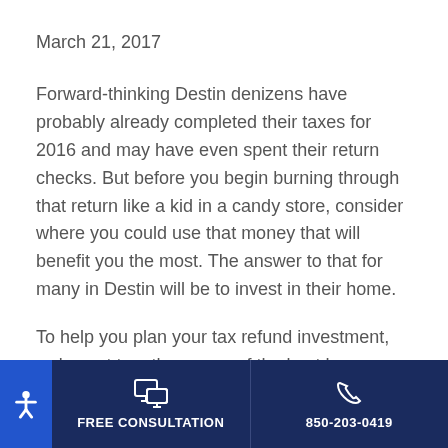March 21, 2017
Forward-thinking Destin denizens have probably already completed their taxes for 2016 and may have even spent their return checks. But before you begin burning through that return like a kid in a candy store, consider where you could use that money that will benefit you the most. The answer to that for many in Destin will be to invest in their home.
To help you plan your tax refund investment, we've put together some of the best home improvement
FREE CONSULTATION | 850-203-0419